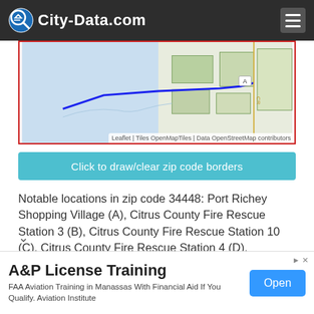City-Data.com
[Figure (map): Partial street/coastal map showing zip code 34448 boundary in blue outline, with green land parcels and a marker pin visible. Attribution: Leaflet | Tiles OpenMapTiles | Data OpenStreetMap contributors]
Click to draw/clear zip code borders
Notable locations in zip code 34448: Port Richey Shopping Village (A), Citrus County Fire Rescue Station 3 (B), Citrus County Fire Rescue Station 10 (C), Citrus County Fire Rescue Station 4 (D), Chassahowitzka National Wildlife Refuge Headquarters (E). Display/hide their locations on the map
Shopping Center: Homosassa Springs Shopping Center
display/hide its location on the map
A&P License Training
FAA Aviation Training in Manassas With Financial Aid If You Qualify. Aviation Institute